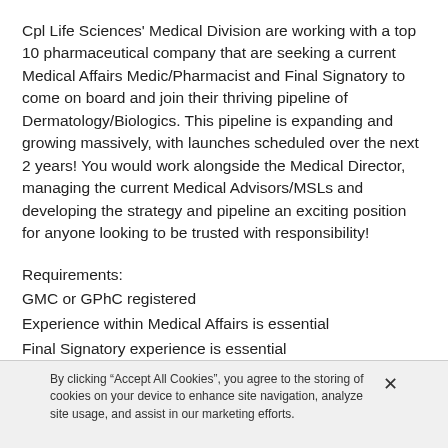Cpl Life Sciences' Medical Division are working with a top 10 pharmaceutical company that are seeking a current Medical Affairs Medic/Pharmacist and Final Signatory to come on board and join their thriving pipeline of Dermatology/Biologics. This pipeline is expanding and growing massively, with launches scheduled over the next 2 years! You would work alongside the Medical Director, managing the current Medical Advisors/MSLs and developing the strategy and pipeline an exciting position for anyone looking to be trusted with responsibility!
Requirements:
GMC or GPhC registered
Experience within Medical Affairs is essential
Final Signatory experience is essential
By clicking “Accept All Cookies”, you agree to the storing of cookies on your device to enhance site navigation, analyze site usage, and assist in our marketing efforts.